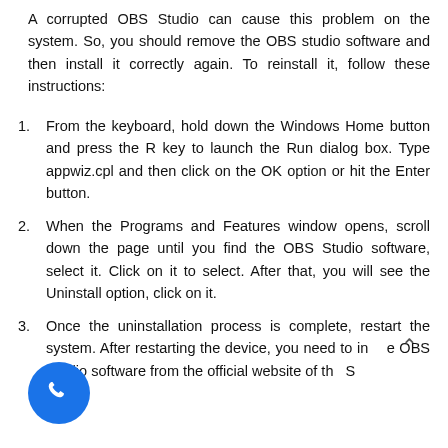A corrupted OBS Studio can cause this problem on the system. So, you should remove the OBS studio software and then install it correctly again. To reinstall it, follow these instructions:
From the keyboard, hold down the Windows Home button and press the R key to launch the Run dialog box. Type appwiz.cpl and then click on the OK option or hit the Enter button.
When the Programs and Features window opens, scroll down the page until you find the OBS Studio software, select it. Click on it to select. After that, you will see the Uninstall option, click on it.
Once the uninstallation process is complete, restart the system. After restarting the device, you need to install the OBS Studio software from the official website of the OBS